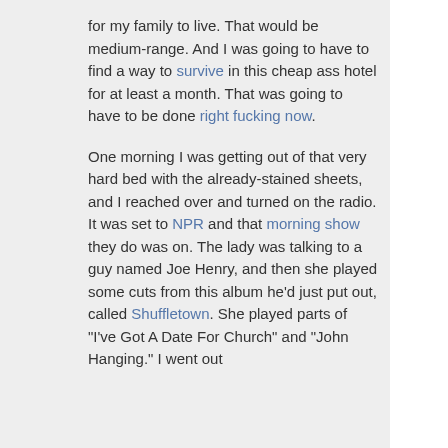for my family to live. That would be medium-range. And I was going to have to find a way to survive in this cheap ass hotel for at least a month. That was going to have to be done right fucking now.
One morning I was getting out of that very hard bed with the already-stained sheets, and I reached over and turned on the radio. It was set to NPR and that morning show they do was on. The lady was talking to a guy named Joe Henry, and then she played some cuts from this album he'd just put out, called Shuffletown. She played parts of "I've Got A Date For Church" and "John Hanging." I went out